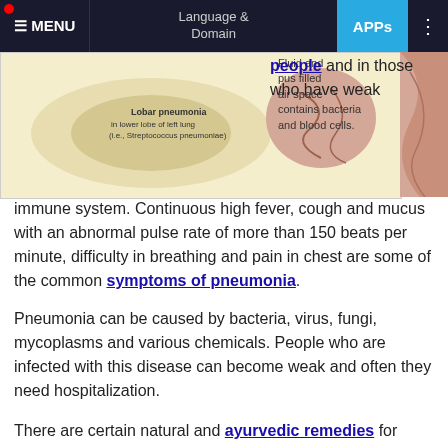MENU | Language & Domain | APPs
[Figure (illustration): Medical illustration showing lobar pneumonia in lower lobe of left lung (i.e., Streptococcus pneumoniae) and fluid and pus filled air space containing bacteria and blood cells.]
people and in those who have weak immune system. Continuous high fever, cough and mucus with an abnormal pulse rate of more than 150 beats per minute, difficulty in breathing and pain in chest are some of the common symptoms of pneumonia.
Pneumonia can be caused by bacteria, virus, fungi, mycoplasms and various chemicals. People who are infected with this disease can become weak and often they need hospitalization.
There are certain natural and ayurvedic remedies for pneumonia. These remedies help in subsiding effects of pneumonia.
Take flax seed, sesame see and honey in equal quantities. Mix them into water by a adding a pinch of salt. Consume it daily two times to lower the inflammation.
Drink basil juice by adding some